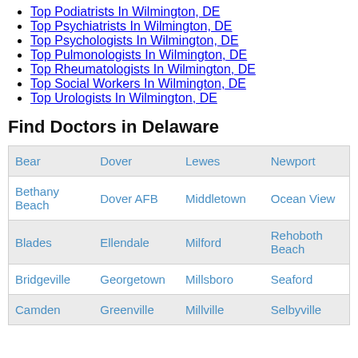Top Podiatrists In Wilmington, DE
Top Psychiatrists In Wilmington, DE
Top Psychologists In Wilmington, DE
Top Pulmonologists In Wilmington, DE
Top Rheumatologists In Wilmington, DE
Top Social Workers In Wilmington, DE
Top Urologists In Wilmington, DE
Find Doctors in Delaware
| Bear | Dover | Lewes | Newport |
| Bethany Beach | Dover AFB | Middletown | Ocean View |
| Blades | Ellendale | Milford | Rehoboth Beach |
| Bridgeville | Georgetown | Millsboro | Seaford |
| Camden | Greenville | Millville | Selbyville |